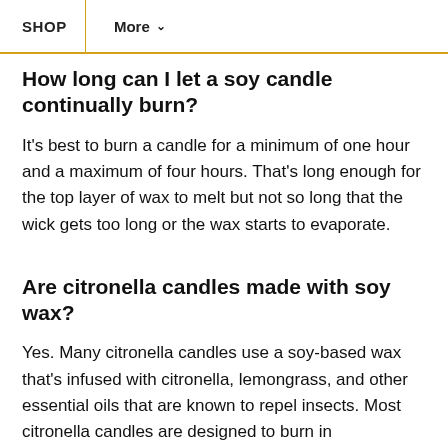SHOP | More ∨
How long can I let a soy candle continually burn?
It's best to burn a candle for a minimum of one hour and a maximum of four hours. That's long enough for the top layer of wax to melt but not so long that the wick gets too long or the wax starts to evaporate.
Are citronella candles made with soy wax?
Yes. Many citronella candles use a soy-based wax that's infused with citronella, lemongrass, and other essential oils that are known to repel insects. Most citronella candles are designed to burn in